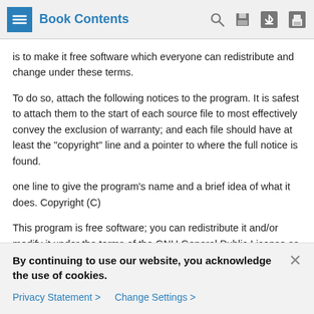Book Contents
is to make it free software which everyone can redistribute and change under these terms.
To do so, attach the following notices to the program. It is safest to attach them to the start of each source file to most effectively convey the exclusion of warranty; and each file should have at least the "copyright" line and a pointer to where the full notice is found.
one line to give the program's name and a brief idea of what it does. Copyright (C)
This program is free software; you can redistribute it and/or modify it under the terms of the GNU General Public License as published by the Free Software Foundation; either version 2 of the License, or (at your option) any later version.
By continuing to use our website, you acknowledge the use of cookies.
Privacy Statement > Change Settings >